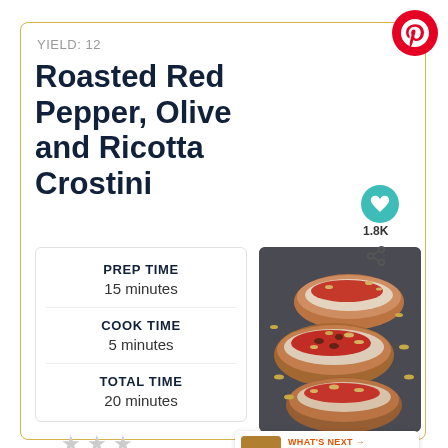YIELD: 12
Roasted Red Pepper, Olive and Ricotta Crostini
PREP TIME
15 minutes
COOK TIME
5 minutes
TOTAL TIME
20 minutes
[Figure (photo): Crostini topped with roasted red peppers, olives, ricotta and pine nuts on a dark slate surface]
1.8K
WHAT'S NEXT → Caramelized Fig and...
No Ratings